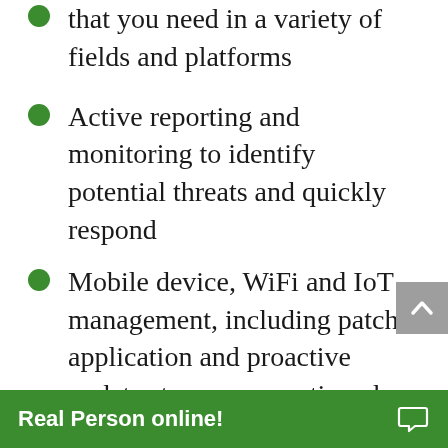that you need in a variety of fields and platforms
Active reporting and monitoring to identify potential threats and quickly respond
Mobile device, WiFi and IoT management, including patch application and proactive updates to ensure continued security
End-to-end cybersecurity solutions that provide a 360-degree net of protection around your sens...